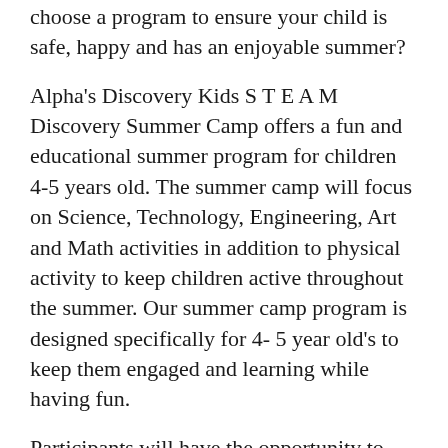choose a program to ensure your child is safe, happy and has an enjoyable summer?
Alpha's Discovery Kids S T E A M Discovery Summer Camp offers a fun and educational summer program for children 4-5 years old. The summer camp will focus on Science, Technology, Engineering, Art and Math activities in addition to physical activity to keep children active throughout the summer. Our summer camp program is designed specifically for 4- 5 year old's to keep them engaged and learning while having fun.
Participants will have the opportunity to explore through inquiry-based learning activities that develop critical thinking skills and problem solving abilities. Participants will also develop their independence, social capabilities and self-esteem, all in a positive